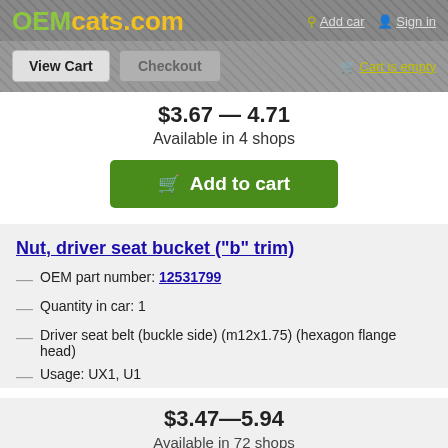OEMcats.com | Add car | Sign in
View Cart | Checkout | Cart is empty
$3.67 — 4.71
Available in 4 shops
Add to cart
Nut, driver seat bucket ("b" trim)
OEM part number: 12531799
Quantity in car: 1
Driver seat belt (buckle side) (m12x1.75) (hexagon flange head)
Usage: UX1, U1
$3.47—5.94
Available in 72 shops